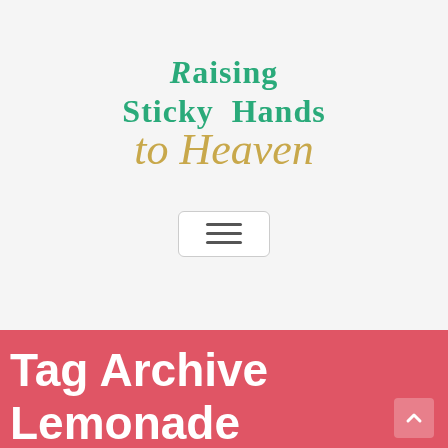[Figure (logo): Blog logo reading 'Raising Sticky Hands to Heaven' with teal serif font for 'Raising Sticky Hands' and gold italic script for 'to Heaven']
[Figure (other): Hamburger menu button — three horizontal lines inside a rounded rectangle]
Tag Archive Lemonade stand